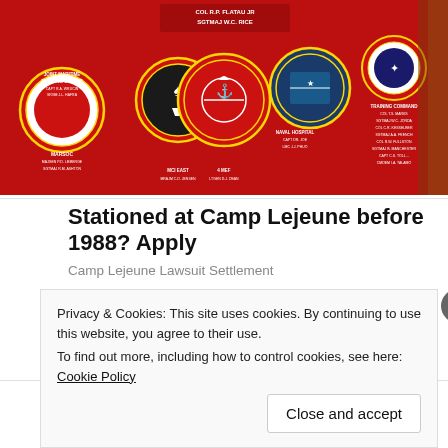[Figure (photo): Red military banner with circular unit insignia badges and text labels for various Marine Corps units including Joint Maritime Training Center, MARSOC, MCI East, 4 MEF, Naval Hospital, and Training Command. Names COL R.P. FLATAU JR and SGTMAJ W.C. RICE visible at top.]
Stationed at Camp Lejeune before 1988? Apply
Camp Lejeune Lawsuit Settlement
[Figure (photo): Photo of three restaurant/hospitality workers — a smiling Black man in a tie holding a tablet, a chef in white uniform, and a woman in dark uniform — standing together in a restaurant setting.]
nature's touch Crew Member Jobs in Ashburn Apply Now
jobble.com
Privacy & Cookies: This site uses cookies. By continuing to use this website, you agree to their use.
To find out more, including how to control cookies, see here: Cookie Policy
Close and accept